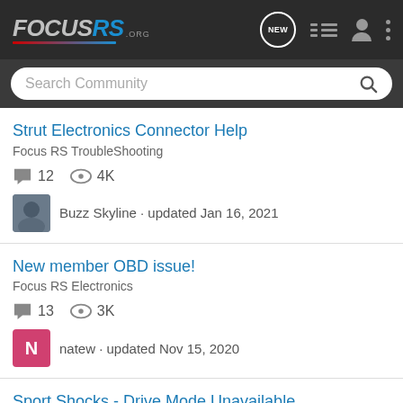FOCUSRS.ORG
Search Community
Strut Electronics Connector Help
Focus RS TroubleShooting
12 replies · 4K views
Buzz Skyline · updated Jan 16, 2021
New member OBD issue!
Focus RS Electronics
13 replies · 3K views
natew · updated Nov 15, 2020
Sport Shocks - Drive Mode Unavailable
Focus RS TroubleShooting